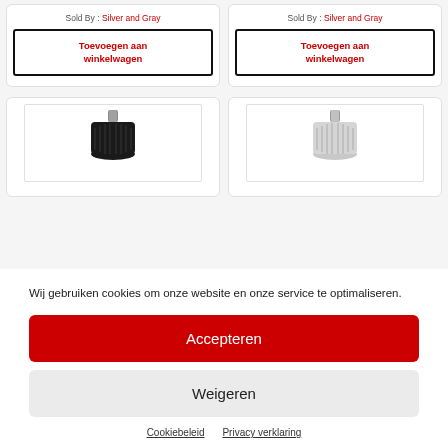Sold By : Silver and Gray
Toevoegen aan winkelwagen
Sold By : Silver and Gray
Toevoegen aan winkelwagen
[Figure (photo): Black product (knob/cap) on white background]
[Figure (photo): White/silver product (knob/cap) on white background]
Wij gebruiken cookies om onze website en onze service te optimaliseren.
Accepteren
Weigeren
Cookiebeleid   Privacy verklaring